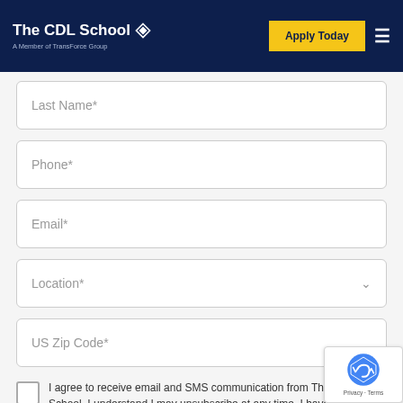[Figure (logo): The CDL School logo with diamond/arrow icon and tagline 'A Member of TransForce Group' on dark navy background, with 'Apply Today' yellow button and hamburger menu icon]
Last Name*
Phone*
Email*
Location*
US Zip Code*
I agree to receive email and SMS communication The CDL School. I understand I may unsubscribe any time. I have read the Privacy Policy & Terms and